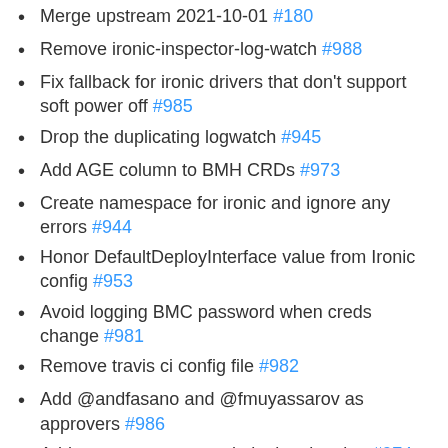Merge upstream 2021-10-01 #180
Remove ironic-inspector-log-watch #988
Fix fallback for ironic drivers that don't support soft power off #985
Drop the duplicating logwatch #945
Add AGE column to BMH CRDs #973
Create namespace for ironic and ignore any errors #944
Honor DefaultDeployInterface value from Ironic config #953
Avoid logging BMC password when creds change #981
Remove travis ci config file #982
Add @andfasano and @fmuyassarov as approvers #986
Add more context to node lookup logging #974
Do not disable iDRAC Redfish vendor interfaces #933
Create a SecretManager type to manage Secrets